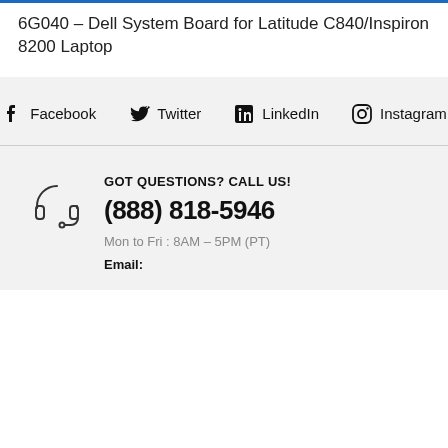6G040 – Dell System Board for Latitude C840/Inspiron 8200 Laptop
Facebook  Twitter  LinkedIn  Instagram
GOT QUESTIONS? CALL US!
(888) 818-5946
Mon to Fri : 8AM – 5PM (PT)
Email: